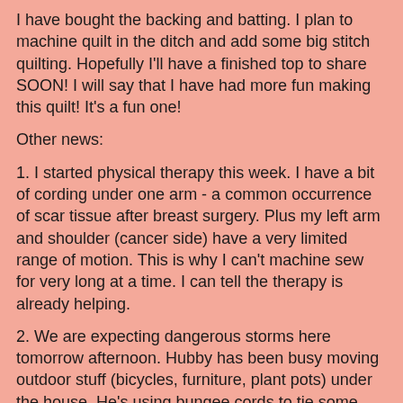I have bought the backing and batting. I plan to machine quilt in the ditch and add some big stitch quilting. Hopefully I'll have a finished top to share SOON! I will say that I have had more fun making this quilt! It's a fun one!
Other news:
1. I started physical therapy this week. I have a bit of cording under one arm - a common occurrence of scar tissue after breast surgery. Plus my left arm and shoulder (cancer side) have a very limited range of motion. This is why I can't machine sew for very long at a time. I can tell the therapy is already helping.
2. We are expecting dangerous storms here tomorrow afternoon. Hubby has been busy moving outdoor stuff (bicycles, furniture, plant pots) under the house. He's using bungee cords to tie some things down. He has also fixed us a 'safe place' to retreat during the storm in our crawl space. It's a pretty tall area, so he has set up a couple of chairs under there and has our bicycle helmets ready for us to use. We take weather threats very seriously.